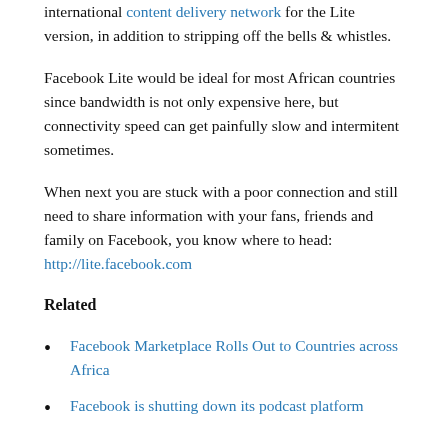international content delivery network for the Lite version, in addition to stripping off the bells & whistles.
Facebook Lite would be ideal for most African countries since bandwidth is not only expensive here, but connectivity speed can get painfully slow and intermitent sometimes.
When next you are stuck with a poor connection and still need to share information with your fans, friends and family on Facebook, you know where to head: http://lite.facebook.com
Related
Facebook Marketplace Rolls Out to Countries across Africa
Facebook is shutting down its podcast platform